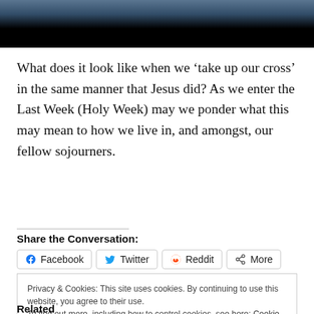[Figure (photo): Partial photo strip at top of page, showing a blurred image with dark overlay]
What does it look like when we ‘take up our cross’ in the same manner that Jesus did? As we enter the Last Week (Holy Week) may we ponder what this may mean to how we live in, and amongst, our fellow sojourners.
Share the Conversation:
Facebook  Twitter  Reddit  More
Privacy & Cookies: This site uses cookies. By continuing to use this website, you agree to their use.
To find out more, including how to control cookies, see here: Cookie Policy
Related